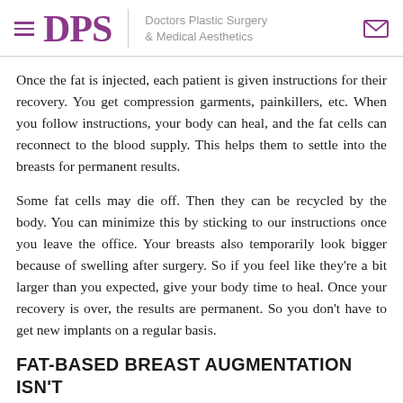DPS | Doctors Plastic Surgery & Medical Aesthetics
Once the fat is injected, each patient is given instructions for their recovery. You get compression garments, painkillers, etc. When you follow instructions, your body can heal, and the fat cells can reconnect to the blood supply. This helps them to settle into the breasts for permanent results.
Some fat cells may die off. Then they can be recycled by the body. You can minimize this by sticking to our instructions once you leave the office. Your breasts also temporarily look bigger because of swelling after surgery. So if you feel like they're a bit larger than you expected, give your body time to heal. Once your recovery is over, the results are permanent. So you don't have to get new implants on a regular basis.
FAT-BASED BREAST AUGMENTATION ISN'T RIGHT FOR EVERY PATIENT IN LONG ISLAND